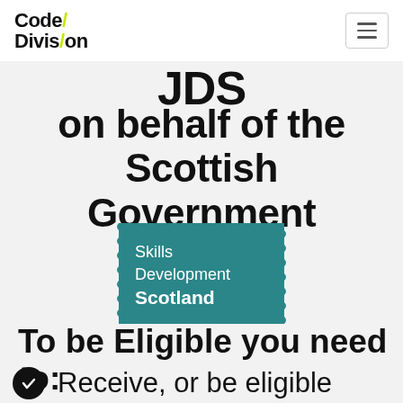Code/Division
JDS on behalf of the Scottish Government
[Figure (logo): Skills Development Scotland logo — teal ticket-shaped badge with white text reading 'Skills Development Scotland']
To be Eligible you need to:
Receive, or be eligible to...